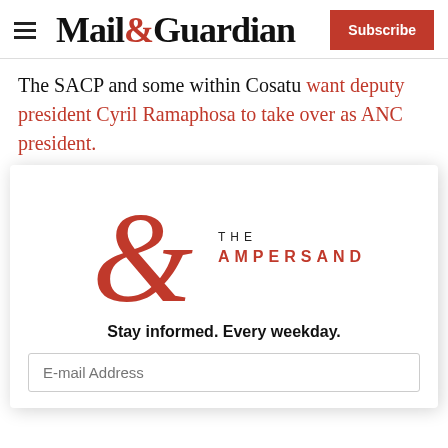Mail&Guardian | Subscribe
The SACP and some within Cosatu want deputy president Cyril Ramaphosa to take over as ANC president.
Addressing the Cosatu national congress on Tuesday, Nzimande called on the ANC to deal with the new te...
[Figure (logo): The Ampersand newsletter popup logo with large red ampersand symbol and text 'THE AMPERSAND']
Stay informed. Every weekday.
E-mail Address